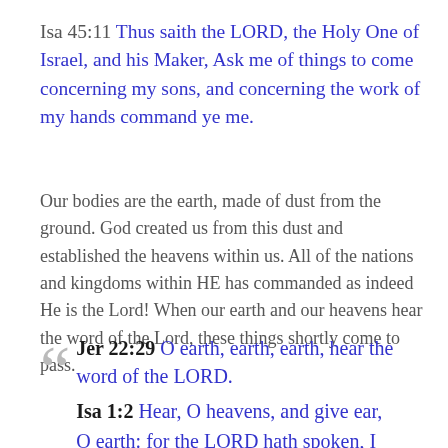Isa 45:11 Thus saith the LORD, the Holy One of Israel, and his Maker, Ask me of things to come concerning my sons, and concerning the work of my hands command ye me.
Our bodies are the earth, made of dust from the ground. God created us from this dust and established the heavens within us. All of the nations and kingdoms within HE has commanded as indeed He is the Lord! When our earth and our heavens hear the word of the Lord, these things shortly come to pass.
Jer 22:29 O earth, earth, earth, hear the word of the LORD. Isa 1:2 Hear, O heavens, and give ear, O earth: for the LORD hath spoken, I